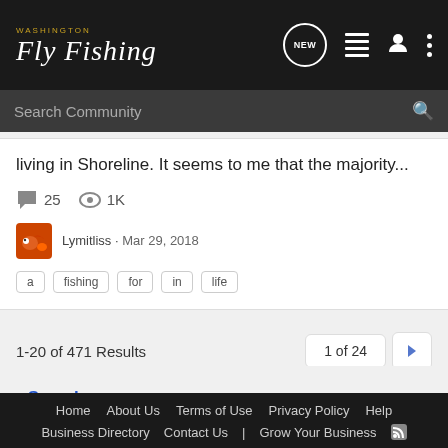[Figure (logo): Washington Fly Fishing logo with navigation icons]
Search Community
living in Shoreline. It seems to me that the majority...
25  1K
Lymitliss · Mar 29, 2018
a  fishing  for  in  life
1-20 of 471 Results
1 of 24
< Search
Home  About Us  Terms of Use  Privacy Policy  Help  Business Directory  Contact Us  |  Grow Your Business